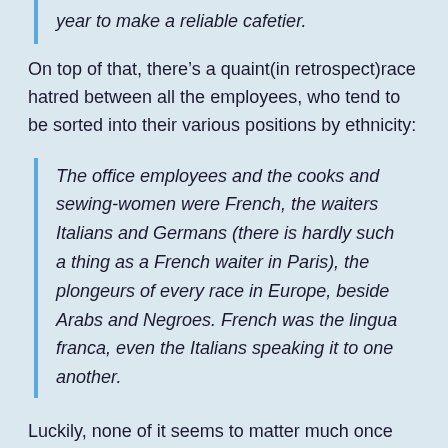year to make a reliable cafetier.
On top of that, there’s a quaint(in retrospect)race hatred between all the employees, who tend to be sorted into their various positions by ethnicity:
The office employees and the cooks and sewing-women were French, the waiters Italians and Germans (there is hardly such a thing as a French waiter in Paris), the plongeurs of every race in Europe, beside Arabs and Negroes. French was the lingua franca, even the Italians speaking it to one another.
Luckily, none of it seems to matter much once orders stop coming in and everyone is indiscriminately screaming insults at everyone else. If you’ve ever seen on of those Gordon Ramsay cooking shows, what